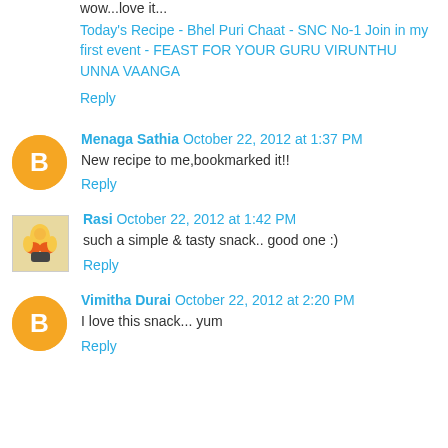wow...love it...
Today's Recipe - Bhel Puri Chaat - SNC No-1 Join in my first event - FEAST FOR YOUR GURU VIRUNTHU UNNA VAANGA
Reply
Menaga Sathia  October 22, 2012 at 1:37 PM
New recipe to me,bookmarked it!!
Reply
Rasi  October 22, 2012 at 1:42 PM
such a simple & tasty snack.. good one :)
Reply
Vimitha Durai  October 22, 2012 at 2:20 PM
I love this snack... yum
Reply